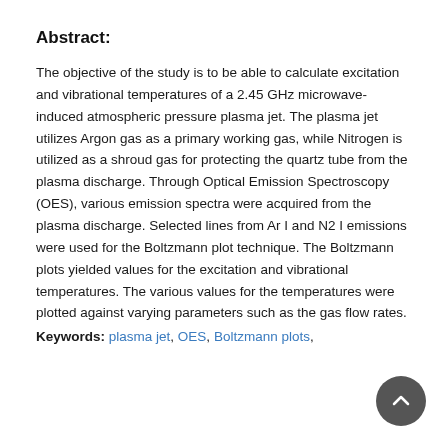Abstract:
The objective of the study is to be able to calculate excitation and vibrational temperatures of a 2.45 GHz microwave-induced atmospheric pressure plasma jet. The plasma jet utilizes Argon gas as a primary working gas, while Nitrogen is utilized as a shroud gas for protecting the quartz tube from the plasma discharge. Through Optical Emission Spectroscopy (OES), various emission spectra were acquired from the plasma discharge. Selected lines from Ar I and N2 I emissions were used for the Boltzmann plot technique. The Boltzmann plots yielded values for the excitation and vibrational temperatures. The various values for the temperatures were plotted against varying parameters such as the gas flow rates.
Keywords: plasma jet, OES, Boltzmann plots,